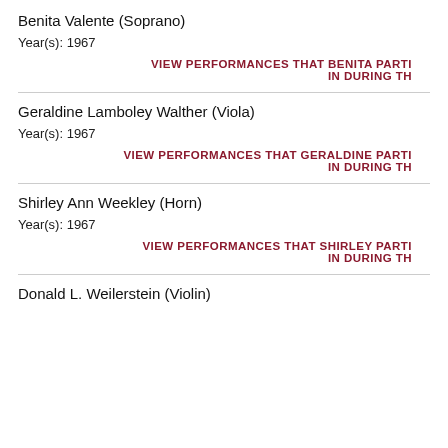Benita Valente (Soprano)
Year(s): 1967
VIEW PERFORMANCES THAT BENITA PARTI IN DURING TH
Geraldine Lamboley Walther (Viola)
Year(s): 1967
VIEW PERFORMANCES THAT GERALDINE PARTI IN DURING TH
Shirley Ann Weekley (Horn)
Year(s): 1967
VIEW PERFORMANCES THAT SHIRLEY PARTI IN DURING TH
Donald L. Weilerstein (Violin)